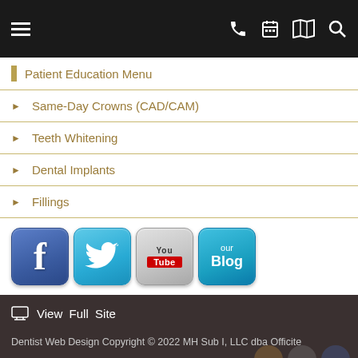Navigation bar with hamburger menu, phone, calendar, map, and search icons
Patient Education Menu
Same-Day Crowns (CAD/CAM)
Teeth Whitening
Dental Implants
Fillings
[Figure (screenshot): Social media icon buttons: Facebook, Twitter, YouTube, our Blog]
View Full Site
Dentist Web Design Copyright © 2022 MH Sub I, LLC dba Officite
Disclaimer   Patient Privacy   Site Map